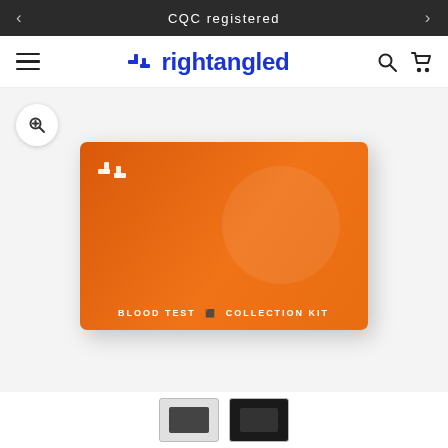CQC registered
[Figure (logo): Rightangled brand logo with navigation bar including hamburger menu, search icon, and cart icon]
[Figure (photo): Orange rightangled Blood Test Collection Kit box on white/light grey background with zoom button overlay]
[Figure (photo): Thumbnail images of the product at the bottom of the page, partially visible]